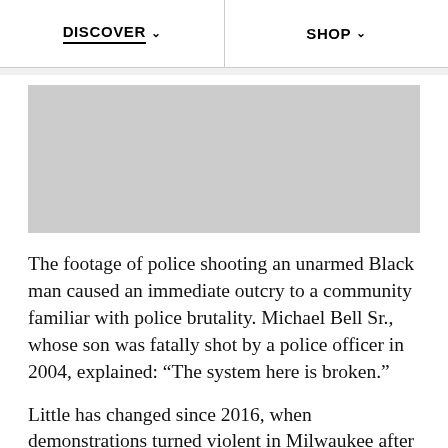DISCOVER  SHOP
[Figure (photo): Gray placeholder image rectangle]
The footage of police shooting an unarmed Black man caused an immediate outcry to a community familiar with police brutality. Michael Bell Sr., whose son was fatally shot by a police officer in 2004, explained: “The system here is broken.”
Little has changed since 2016, when demonstrations turned violent in Milwaukee after